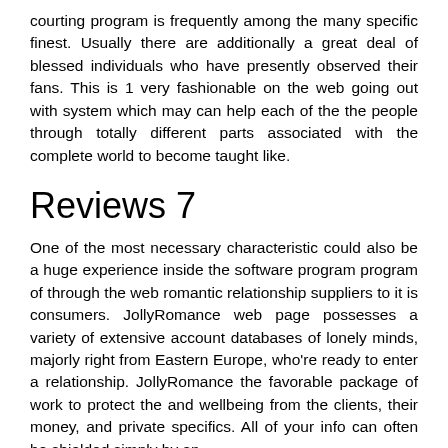courting program is frequently among the many specific finest. Usually there are additionally a great deal of blessed individuals who have presently observed their fans. This is 1 very fashionable on the web going out with system which may can help each of the the people through totally different parts associated with the complete world to become taught like.
Reviews 7
One of the most necessary characteristic could also be a huge experience inside the software program program of through the web romantic relationship suppliers to it is consumers. JollyRomance web page possesses a variety of extensive account databases of lonely minds, majorly right from Eastern Europe, who're ready to enter a relationship. JollyRomance the favorable package of work to protect the and wellbeing from the clients, their money, and private specifics. All of your info can often be shielded simply by an